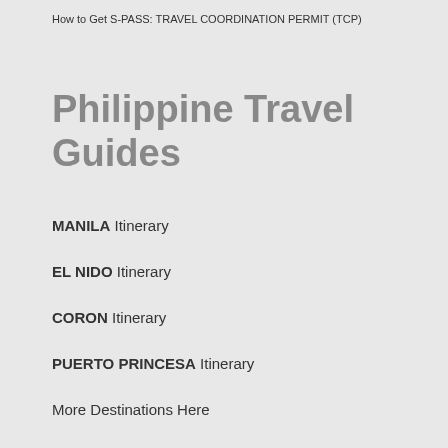How to Get S-PASS: TRAVEL COORDINATION PERMIT (TCP)
Philippine Travel Guides
MANILA Itinerary
EL NIDO Itinerary
CORON Itinerary
PUERTO PRINCESA Itinerary
More Destinations Here
Destination Requirements